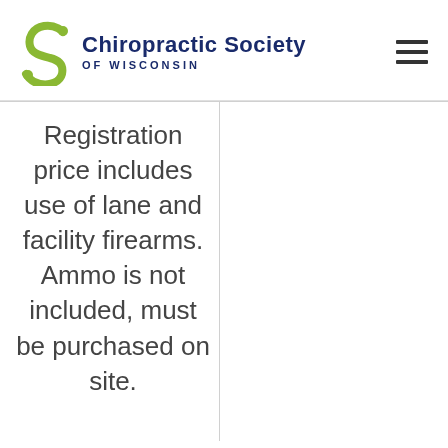Chiropractic Society OF WISCONSIN
Registration price includes use of lane and facility firearms. Ammo is not included, must be purchased on site.